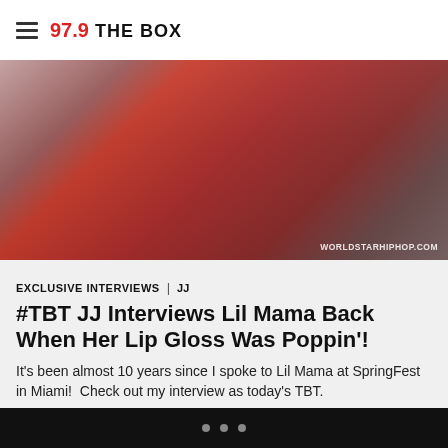97.9 THE BOX
[Figure (photo): Woman in red outfit, watermark WORLDSTARHIPHOP.COM visible in lower right]
EXCLUSIVE INTERVIEWS | JJ
#TBT JJ Interviews Lil Mama Back When Her Lip Gloss Was Poppin'!
It's been almost 10 years since I spoke to Lil Mama at SpringFest in Miami!  Check out my interview as today's TBT.
[Figure (other): Broken/loading media embed placeholder]